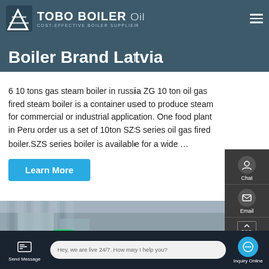TOBO BOILER Oil – COST-EFFECTIVE BOILER SUPPLIER
Boiler Brand Latvia
6 10 tons gas steam boiler in russia ZG 10 ton oil gas fired steam boiler is a container used to produce steam for commercial or industrial application. One food plant in Peru order us a set of 10ton SZS series oil gas fired boiler.SZS series boiler is available for a wide …
[Figure (screenshot): Industrial boiler equipment in a factory setting with WhatsApp and Contact us now overlay widgets]
Send Message | Hey, we are live 24/7. How may I help you? | Inquiry Online